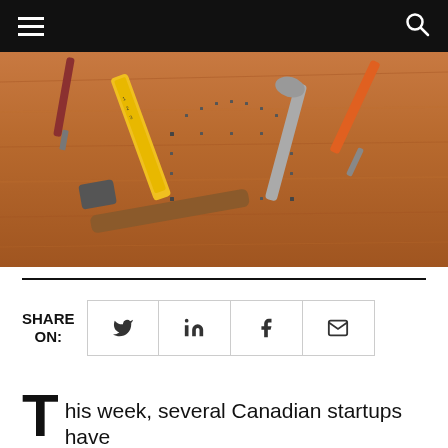[Figure (photo): Tools including a hammer, pliers, screwdrivers, and a tape measure arranged on a wooden surface forming the outline of a house]
SHARE ON:
his week, several Canadian startups have